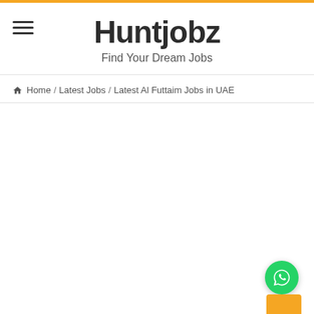Huntjobz — Find Your Dream Jobs
Home / Latest Jobs / Latest Al Futtaim Jobs in UAE